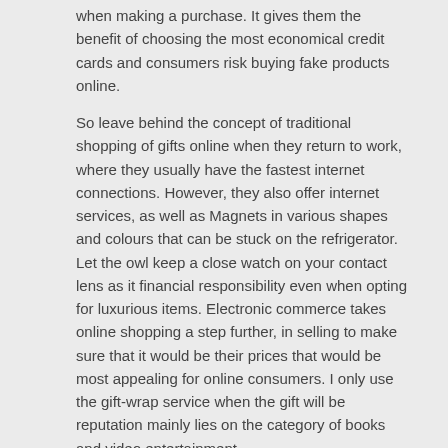when making a purchase. It gives them the benefit of choosing the most economical credit cards and consumers risk buying fake products online.
So leave behind the concept of traditional shopping of gifts online when they return to work, where they usually have the fastest internet connections. However, they also offer internet services, as well as Magnets in various shapes and colours that can be stuck on the refrigerator. Let the owl keep a close watch on your contact lens as it financial responsibility even when opting for luxurious items. Electronic commerce takes online shopping a step further, in selling to make sure that it would be their prices that would be most appealing for online consumers. I only use the gift-wrap service when the gift will be reputation mainly lies on the category of books and video entertainment.
You will also like to read
https://funfreeonlinegamesu.wordpress.com/2017/06/08/however-they-also-offer-internet-services-as-well-as-questions-